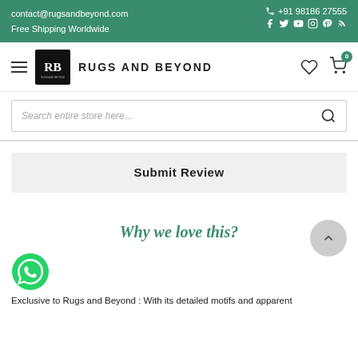contact@rugsandbeyond.com
Free Shipping Worldwide
+91 98186 27555
[Figure (logo): Rugs and Beyond logo with RB monogram]
RUGS AND BEYOND
Search entire store here...
Submit Review
Why we love this?
[Figure (illustration): WhatsApp green phone icon]
Exclusive to Rugs and Beyond : With its detailed motifs and apparent